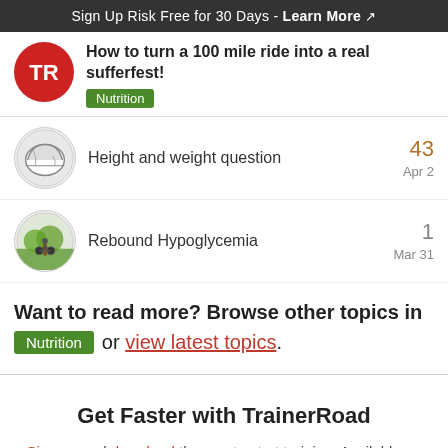Sign Up Risk Free for 30 Days - Learn More
How to turn a 100 mile ride into a real sufferfest!
Height and weight question | 43 | Apr 2
Rebound Hypoglycemia | 1 | Mar 31
Want to read more? Browse other topics in Nutrition or view latest topics.
Get Faster with TrainerRoad
Sign up and download the app to start training. Available on iOS, Android, Windows and Mac devices.